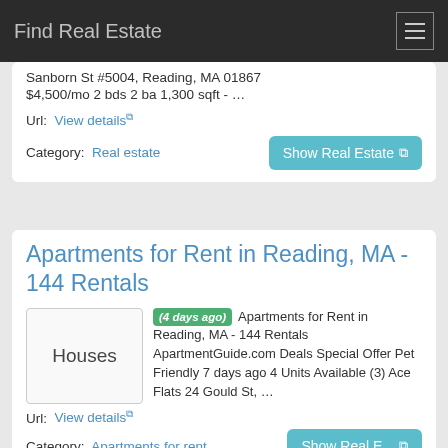Find Real Estate
Sanborn St #5004, Reading, MA 01867 $4,500/mo 2 bds 2 ba 1,300 sqft - ...
Url: View details
Category: Real estate
Apartments for Rent in Reading, MA - 144 Rentals
(4 days ago) Apartments for Rent in Reading, MA - 144 Rentals ApartmentGuide.com Deals Special Offer Pet Friendly 7 days ago 4 Units Available (3) Ace Flats 24 Gould St, …
Url: View details
Category: Apartments for rent